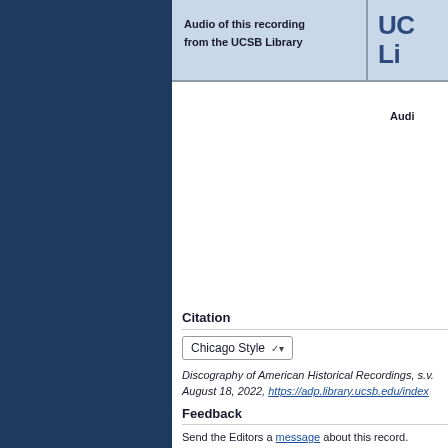[Figure (other): Dark navy blue sidebar on left side of page]
Audio of this recording from the UCSB Library
UC Li
Audi
Citation
Chicago Style
Discography of American Historical Recordings, s.v. August 18, 2022, https://adp.library.ucsb.edu/index
Feedback
Send the Editors a message about this record.